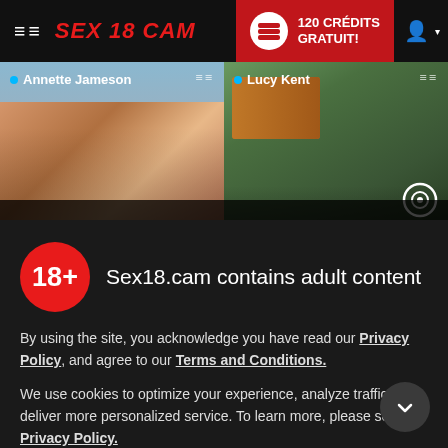SEX 18 CAM | 120 CRÉDITS GRATUIT!
[Figure (screenshot): Two thumbnail images side by side: left shows 'Annette Jameson' beach scene, right shows 'Lucy Kent' group scene with three women outdoors near a vehicle]
Sex18.cam contains adult content
By using the site, you acknowledge you have read our Privacy Policy, and agree to our Terms and Conditions.
We use cookies to optimize your experience, analyze traffic, and deliver more personalized service. To learn more, please see our Privacy Policy.
I AGREE